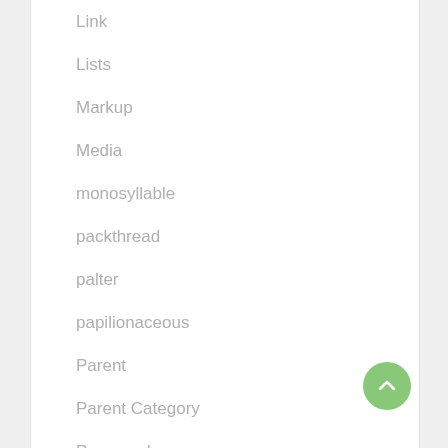Link
Lists
Markup
Media
monosyllable
packthread
palter
papilionaceous
Parent
Parent Category
Password